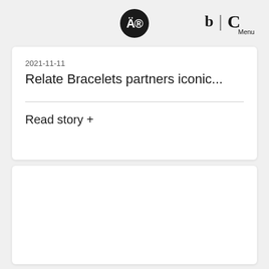Ä® b | C Menu
2021-11-11
Relate Bracelets partners iconic...
Read story +